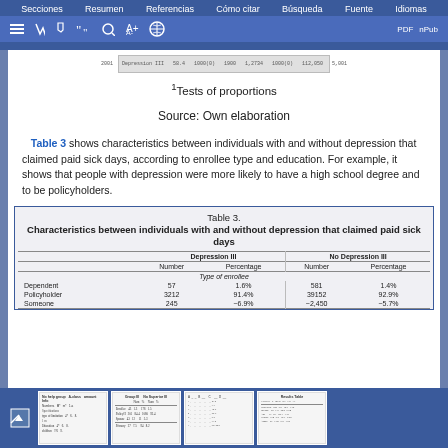Secciones Resumen Referencias Cómo citar Búsqueda Fuente Idiomas
¹Tests of proportions
Source: Own elaboration
Table 3 shows characteristics between individuals with and without depression that claimed paid sick days, according to enrollee type and education. For example, it shows that people with depression were more likely to have a high school degree and to be policyholders.
|  | Depression III |  | No Depression III |  |
| --- | --- | --- | --- | --- |
| Type of enrollee |  |  |  |  |
| Dependent | 57 | 1.6% | 581 | 1.4% |
| Policyholder | 3212 | 91.4% | 39152 | 92.9% |
| Someone | 245 | ~6.9% | ~2450 | ~5.7% |
Thumbnail navigation images